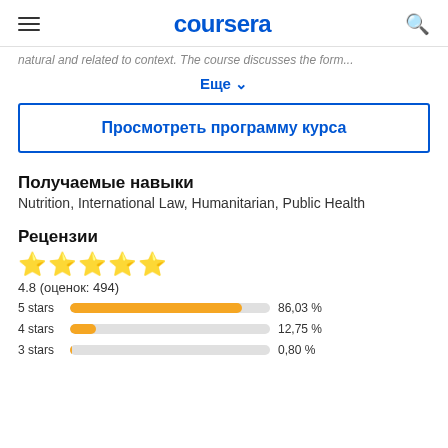coursera
natural and related to context. The course discusses the form...
Еще ∨
Просмотреть программу курса
Получаемые навыки
Nutrition, International Law, Humanitarian, Public Health
Рецензии
[Figure (bar-chart): Ratings breakdown]
4.8 (оценок: 494)